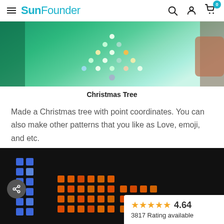SunFounder
[Figure (photo): Photo of LED matrix showing a Christmas tree pattern made with glowing green and white LEDs on a green-lit surface, with a hand visible on the right side]
Christmas Tree
Made a Christmas tree with point coordinates. You can also make other patterns that you like as Love, emoji, and etc.
[Figure (photo): Photo of LED matrix board showing blue LEDs on the left and orange/red LEDs in a grid pattern on a dark background, with a share button overlay and a rating box showing 4.64 stars and 3817 Rating available]